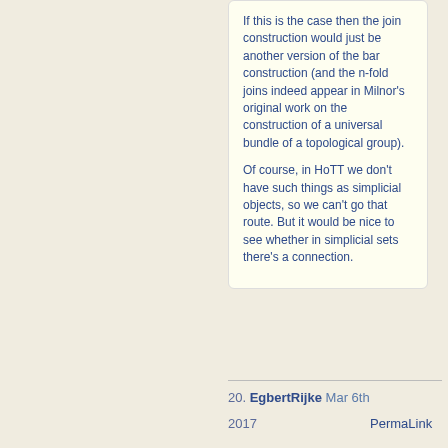If this is the case then the join construction would just be another version of the bar construction (and the n-fold joins indeed appear in Milnor's original work on the construction of a universal bundle of a topological group).

Of course, in HoTT we don't have such things as simplicial objects, so we can't go that route. But it would be nice to see whether in simplicial sets there's a connection.
20. EgbertRijke  Mar 6th 2017  PermaLink